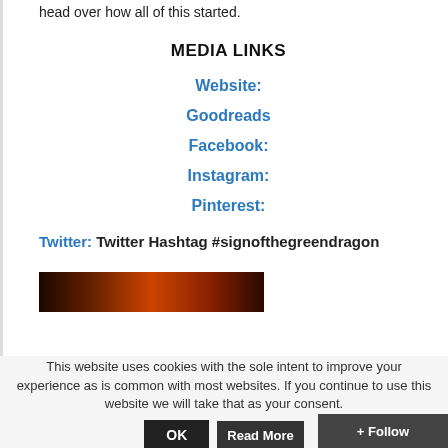head over how all of this started.
MEDIA LINKS
Website:
Goodreads
Facebook:
Instagram:
Pinterest:
Twitter: Twitter Hashtag #signofthegreendragon
[Figure (photo): Partial image visible at bottom of content area, dark reddish tones]
This website uses cookies with the sole intent to improve your experience as is common with most websites. If you continue to use this website we will take that as your consent.